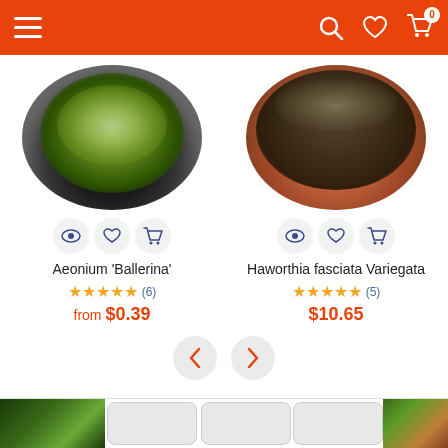Navigation header with menu, search, wishlist, and cart icons
[Figure (photo): Aeonium Ballerina succulent plant in a black round pot, top-down view]
Aeonium 'Ballerina'
★★★★★ (6)
from $0.39
[Figure (photo): Haworthia fasciata Variegata succulent in a terracotta pot, top-down view]
Haworthia fasciata Variegata
★★★★★ (5)
$10.65
[Figure (other): Carousel navigation with left and right arrow buttons]
[Figure (photo): Bottom product carousel strip with small plant thumbnails]